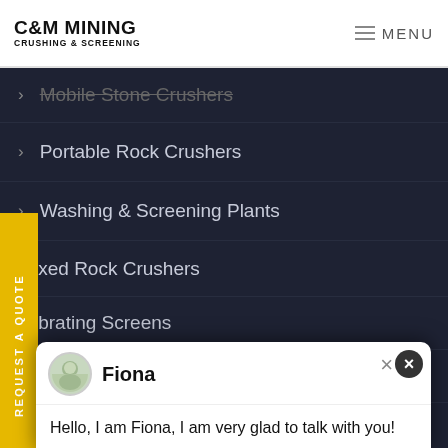C&M MINING CRUSHING & SCREENING — MENU
Mobile Stone Crushers
Portable Rock Crushers
Washing & Screening Plants
Fixed Rock Crushers
Vibrating Screens
Mining Washers
Vibrating Feeders
Conveyors
REQUEST A QUOTE
Fiona
Hello, I am Fiona, I am very glad to talk with you!
Have any requests, click here.
Quotation
Have a Questions?